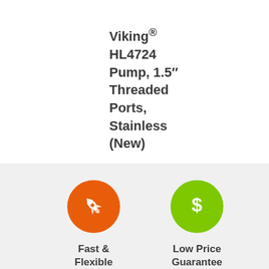Viking® HL4724 Pump, 1.5″ Threaded Ports, Stainless (New)
[Figure (infographic): Orange circle with white rocket/fast icon]
Fast & Flexible
[Figure (infographic): Green circle with white dollar sign icon]
Low Price Guarantee